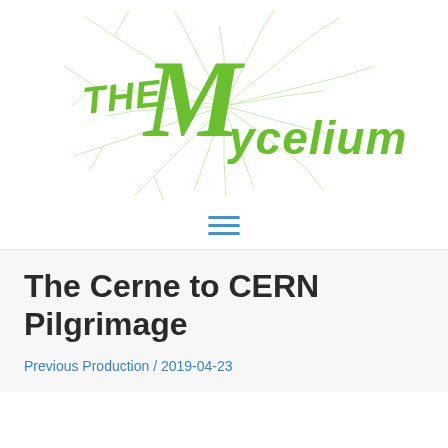[Figure (logo): The Mycelium logo in green hand-drawn style lettering with fungal mycelium network illustration in background]
≡
The Cerne to CERN Pilgrimage
Previous Production / 2019-04-23